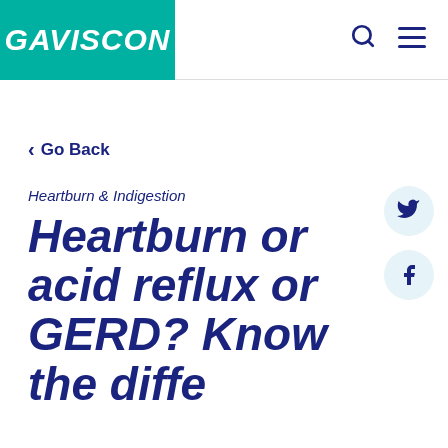GAVISCON
< Go Back
Heartburn & Indigestion
Heartburn or acid reflux or GERD? Know the difference